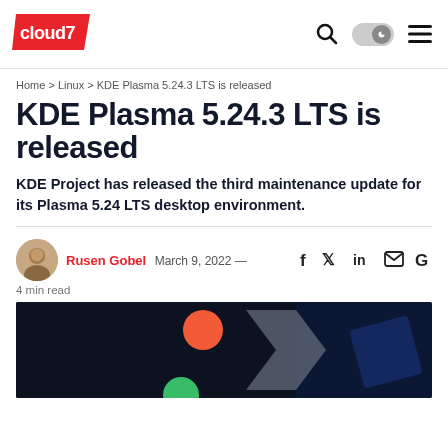cloud7 — navigation header with logo, search, dark mode toggle, and menu
Home > Linux > KDE Plasma 5.24.3 LTS is released
KDE Plasma 5.24.3 LTS is released
KDE Project has released the third maintenance update for its Plasma 5.24 LTS desktop environment.
Rusen Gobel   March 9, 2022 —   4 min read
[Figure (photo): Dark desktop background showing colorful geometric shapes — orange circle, gray angular arrow shape, green circle — on a dark navy/black background, likely a KDE Plasma 5.24 desktop screenshot]